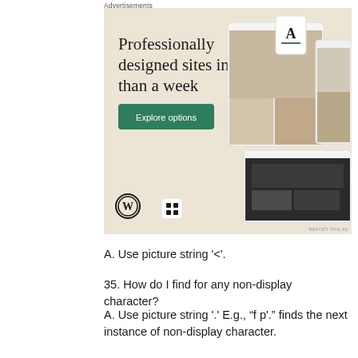Advertisements
[Figure (illustration): WordPress advertisement banner with beige background. Headline text reads 'Professionally designed sites in less than a week' with a green 'Explore options' button. WordPress logo (W in circle) and device mockups showing website designs are visible. 'REPORT THIS AD' link in bottom right.]
A. Use picture string '<'.
35. How do I find for any non-display character?
A. Use picture string '.' E.g., "f p'."" finds the next instance of non-display character.